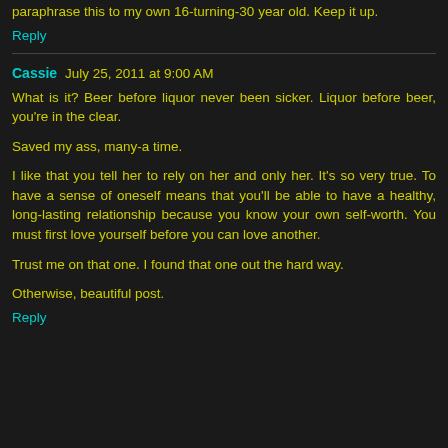paraphrase this to my own 16-turning-30 year old. Keep it up.
Reply
Cassie  July 25, 2011 at 9:00 AM
What is it? Beer before liquor never been sicker. Liquor before beer, you're in the clear.

Saved my ass, many-a time.

I like that you tell her to rely on her and only her. It's so very true. To have a sense of oneself means that you'll be able to have a healthy, long-lasting relationship because you know your own self-worth. You must first love yourself before you can love another.

Trust me on that one. I found that one out the hard way.

Otherwise, beautiful post.
Reply